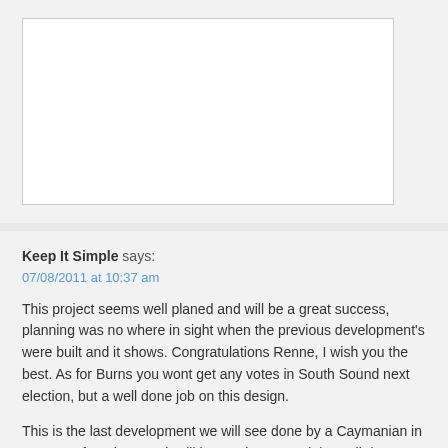[Figure (other): White text input box area (empty comment form field)]
Keep It Simple says:
07/08/2011 at 10:37 am

This project seems well planed and will be a great success, planning was no where in sight when the previous development's were built and it shows. Congratulations Renne, I wish you the best. As for Burns you wont get any votes in South Sound next election, but a well done job on this design.

This is the last development we will see done by a Caymanian in Cayman, from here on it will be Dartitanna. Selah. Well done RH and BC, it get through.
FD says:
05/08/2011 at 7:41 pm